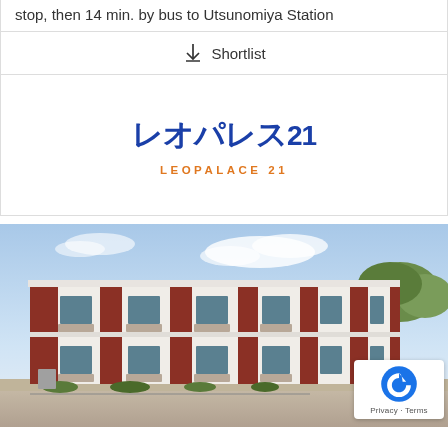stop, then 14 min. by bus to Utsunomiya Station
↓ Shortlist
[Figure (logo): LeoPalace 21 Japanese logo in dark blue with stylized katakana characters, followed by 'LEOPALACE 21' in orange lettering below]
[Figure (photo): Exterior photo of a two-story LeoPalace 21 apartment building with red and white facade, multiple units visible, set against a background of trees and blue sky with clouds]